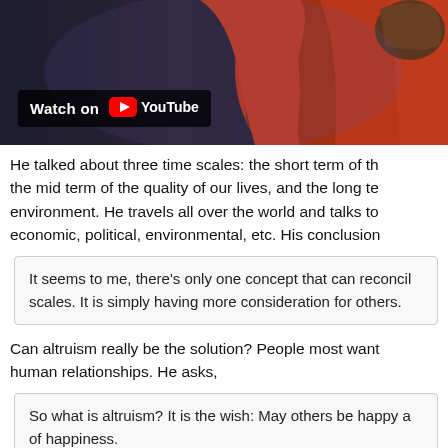[Figure (screenshot): YouTube video thumbnail showing a person in red robes holding a microphone, with 'Watch on YouTube' badge overlay]
He talked about three time scales: the short term of th... the mid term of the quality of our lives, and the long te... environment. He travels all over the world and talks to... economic, political, environmental, etc. His conclusion...
It seems to me, there's only one concept that can reconcil... scales. It is simply having more consideration for others.
Can altruism really be the solution? People most want... human relationships. He asks,
So what is altruism? It is the wish: May others be happy a... of happiness.